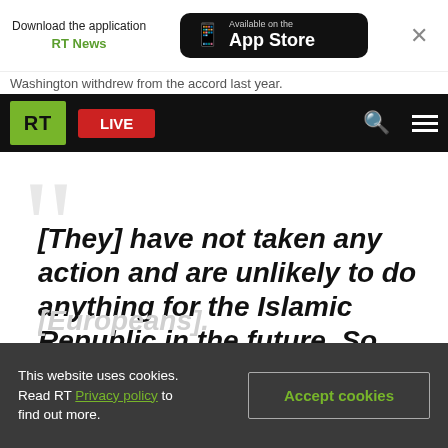Download the application RT News | Available on the App Store
Washington withdrew from the accord last year.
RT | LIVE
[They] have not taken any action and are unlikely to do anything for the Islamic Republic in the future. So, one should give up all hope on [Europeans].
This website uses cookies. Read RT Privacy policy to find out more. Accept cookies